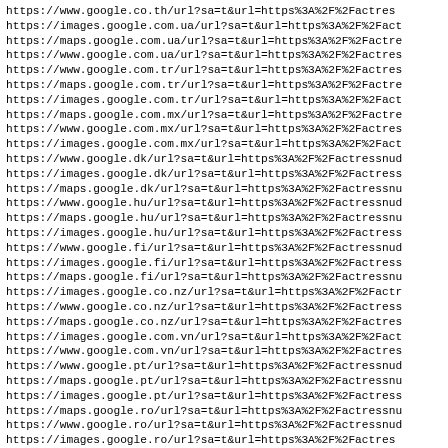https://www.google.co.th/url?sa=t&url=https%3A%2F%2Factres
https://images.google.com.ua/url?sa=t&url=https%3A%2F%2Fact
https://maps.google.com.ua/url?sa=t&url=https%3A%2F%2Factre
https://www.google.com.ua/url?sa=t&url=https%3A%2F%2Factres
https://www.google.com.tr/url?sa=t&url=https%3A%2F%2Factres
https://maps.google.com.tr/url?sa=t&url=https%3A%2F%2Factre
https://images.google.com.tr/url?sa=t&url=https%3A%2F%2Fact
https://maps.google.com.mx/url?sa=t&url=https%3A%2F%2Factre
https://www.google.com.mx/url?sa=t&url=https%3A%2F%2Factres
https://images.google.com.mx/url?sa=t&url=https%3A%2F%2Fact
https://www.google.dk/url?sa=t&url=https%3A%2F%2Factressnud
https://images.google.dk/url?sa=t&url=https%3A%2F%2Factress
https://maps.google.dk/url?sa=t&url=https%3A%2F%2Factressnu
https://www.google.hu/url?sa=t&url=https%3A%2F%2Factressnud
https://maps.google.hu/url?sa=t&url=https%3A%2F%2Factressnu
https://images.google.hu/url?sa=t&url=https%3A%2F%2Factress
https://www.google.fi/url?sa=t&url=https%3A%2F%2Factressnud
https://images.google.fi/url?sa=t&url=https%3A%2F%2Factress
https://maps.google.fi/url?sa=t&url=https%3A%2F%2Factressnu
https://images.google.co.nz/url?sa=t&url=https%3A%2F%2Factr
https://www.google.co.nz/url?sa=t&url=https%3A%2F%2Factress
https://maps.google.co.nz/url?sa=t&url=https%3A%2F%2Factres
https://images.google.com.vn/url?sa=t&url=https%3A%2F%2Fact
https://www.google.com.vn/url?sa=t&url=https%3A%2F%2Factres
https://www.google.pt/url?sa=t&url=https%3A%2F%2Factressnud
https://maps.google.pt/url?sa=t&url=https%3A%2F%2Factressnu
https://images.google.pt/url?sa=t&url=https%3A%2F%2Factress
https://maps.google.ro/url?sa=t&url=https%3A%2F%2Factressnu
https://www.google.ro/url?sa=t&url=https%3A%2F%2Factressnud
https://images.google.ro/url?sa=t&url=https%3A%2F%2Factres